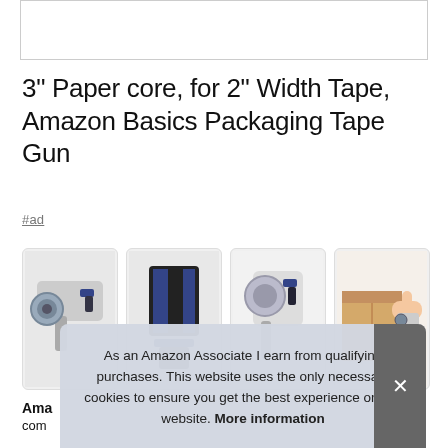[Figure (other): Empty white box / image placeholder at the top of the page]
3" Paper core, for 2" Width Tape, Amazon Basics Packaging Tape Gun
#ad
[Figure (photo): Four thumbnail product images of an Amazon Basics Packaging Tape Gun showing different angles and usage]
Ama
com
As an Amazon Associate I earn from qualifying purchases. This website uses the only necessary cookies to ensure you get the best experience on our website. More information